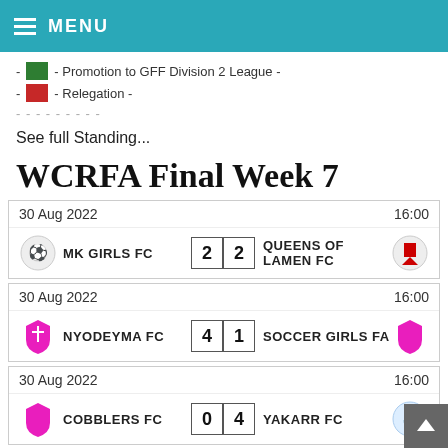MENU
- [green] - Promotion to GFF Division 2 League -
- [red] - Relegation -
See full Standing...
WCRFA Final Week 7
| Date | Home Team | Score | Away Team | Time |
| --- | --- | --- | --- | --- |
| 30 Aug 2022 | MK GIRLS FC | 2 - 2 | QUEENS OF LAMEN FC | 16:00 |
| 30 Aug 2022 | NYODEYMA FC | 4 - 1 | SOCCER GIRLS FA | 16:00 |
| 30 Aug 2022 | COBBLERS FC | 0 - 4 | YAKARR FC | 16:00 |
| 30 Aug 2022 | FORTUNE FC W | 3 - 1 | SALLI FC | 16:00 |